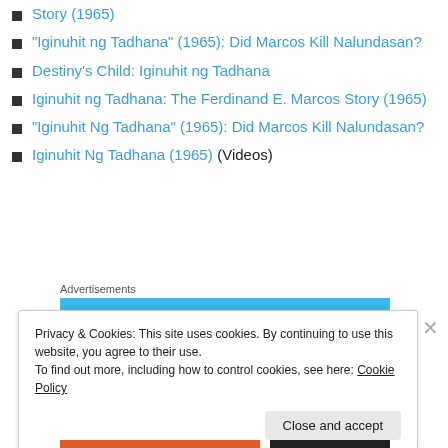Story (1965)
“Iginuhit ng Tadhana” (1965): Did Marcos Kill Nalundasan?
Destiny’s Child: Iginuhit ng Tadhana
Iginuhit ng Tadhana: The Ferdinand E. Marcos Story (1965)
“Iginuhit Ng Tadhana” (1965): Did Marcos Kill Nalundasan?
Iginuhit Ng Tadhana (1965) (Videos)
Advertisements
Privacy & Cookies: This site uses cookies. By continuing to use this website, you agree to their use.
To find out more, including how to control cookies, see here: Cookie Policy
Close and accept